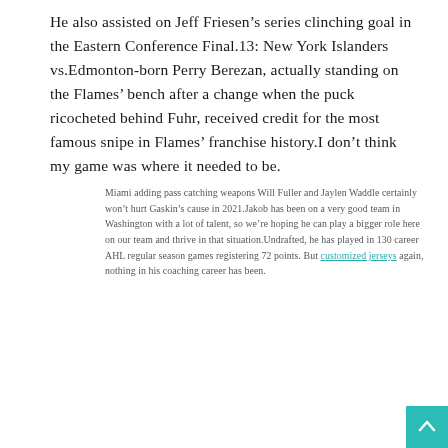He also assisted on Jeff Friesen’s series clinching goal in the Eastern Conference Final.13: New York Islanders vs.Edmonton-born Perry Berezan, actually standing on the Flames’ bench after a change when the puck ricocheted behind Fuhr, received credit for the most famous snipe in Flames’ franchise history.I don’t think my game was where it needed to be.
Miami adding pass catching weapons Will Fuller and Jaylen Waddle certainly won’t hurt Gaskin’s cause in 2021.Jakob has been on a very good team in Washington with a lot of talent, so we’re hoping he can play a bigger role here on our team and thrive in that situation.Undrafted, he has played in 130 career AHL regular season games registering 72 points. But customized jerseys again, nothing in his coaching career has been.